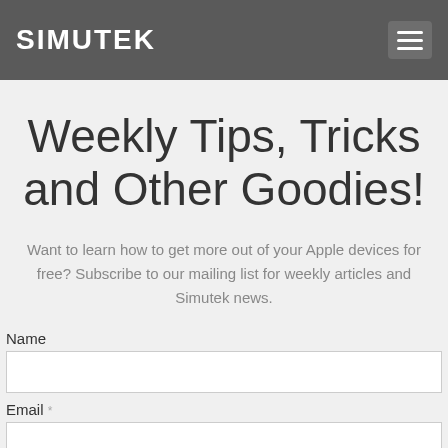SIMUTEK
Weekly Tips, Tricks and Other Goodies!
Want to learn how to get more out of your Apple devices for free? Subscribe to our mailing list for weekly articles and Simutek news.
Name
Email *